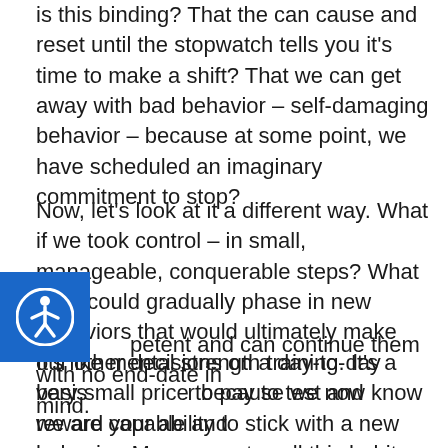is this binding? That the can cause and reset until the stopwatch tells you it's time to make a shift? That we can get away with bad behavior – self-damaging behavior – because at some point, we have scheduled an imaginary commitment to stop?
Now, let's look at it a different way. What if we took control – in small, manageable, conquerable steps? What if we could gradually phase in new behaviors that would ultimately make our other decisions on a day-to-day basis easier because we now know we are capable and competent and can continue them with no end-date in mind.
It's like mental strength training. It's a very small price to pay to test and reward your ability to stick with a new behavior. Many experts call this habit stacking, and it is a highly effective way to change our behaviors one element